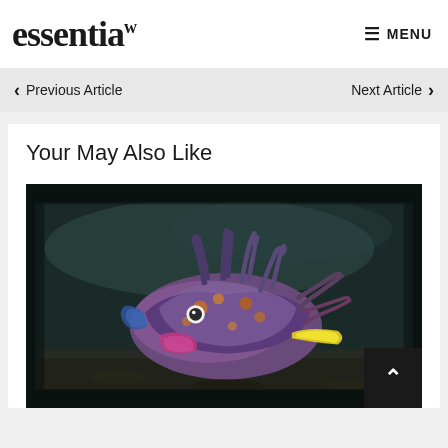essentia MENU
< Previous Article   Next Article >
Your May Also Like
[Figure (photo): Close-up underwater photo of a colorful cuttlefish or flamboyant cuttlefish resting on dark sandy seafloor, displaying vibrant colors of purple, blue, orange, yellow, and pink. The creature has tentacles and distinctive markings.]